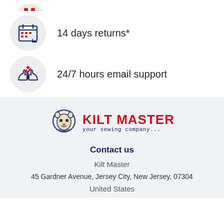[Figure (illustration): Partially visible red icon at top of page (cropped)]
[Figure (illustration): Calendar icon with red squares on a navy blue outlined calendar, inside a light gray circle]
14 days returns*
[Figure (illustration): Hands holding a plant/sprout icon in navy blue with a red sprout, inside a light gray circle]
24/7 hours email support
[Figure (logo): Kilt Master logo with a lion head icon and the text KILT MASTER in red with tagline 'your sewing company...' in navy]
Contact us
Kilt Master
45 Gardner Avenue, Jersey City, New Jersey, 07304
United States